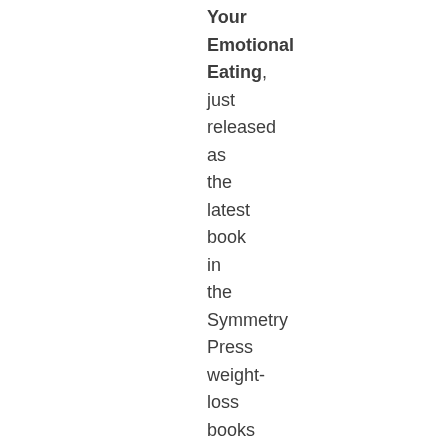Your Emotional Eating, just released as the latest book in the Symmetry Press weight-loss books for women Using Psychology to Lose Weight